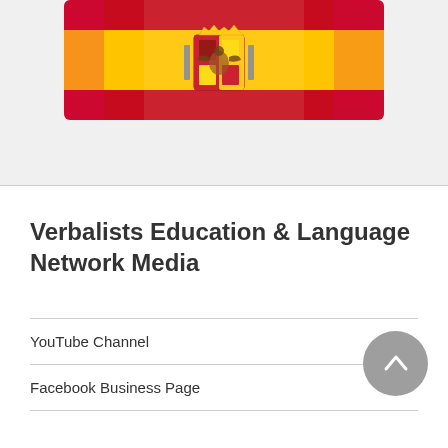[Figure (photo): Spanish flag with coat of arms, colorful red and yellow flag, close-up view with rounded corners, displayed on a light gray background card]
Verbalists Education & Language Network Media
YouTube Channel
Facebook Business Page